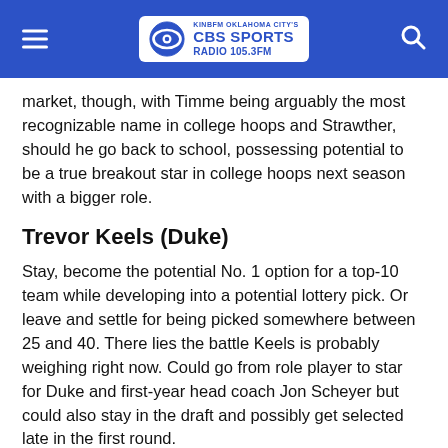KINBFM Oklahoma City's CBS Sports Radio 105.3FM
market, though, with Timme being arguably the most recognizable name in college hoops and Strawther, should he go back to school, possessing potential to be a true breakout star in college hoops next season with a bigger role.
Trevor Keels (Duke)
Stay, become the potential No. 1 option for a top-10 team while developing into a potential lottery pick. Or leave and settle for being picked somewhere between 25 and 40. There lies the battle Keels is probably weighing right now. Could go from role player to star for Duke and first-year head coach Jon Scheyer but could also stay in the draft and possibly get selected late in the first round.